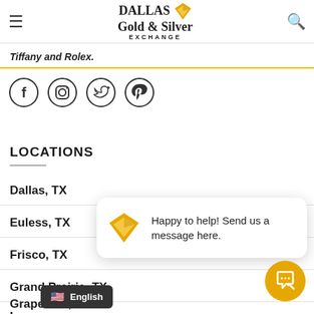Dallas Gold & Silver Exchange — navigation header
Tiffany and Rolex.
[Figure (illustration): Social media icons row: Facebook, Instagram, Twitter, Pinterest — circular outlined icons]
LOCATIONS
Dallas, TX
Euless, TX
Frisco, TX
Grand Prairie, TX
Grapevine, TX
Lew
[Figure (screenshot): Chat popup widget showing Dallas Gold & Silver diamond logo and text: Happy to help! Send us a message here.]
[Figure (screenshot): Language selector showing US flag emoji and English label on dark background]
[Figure (illustration): Yellow chat button circle with speech bubble icon in bottom right corner]